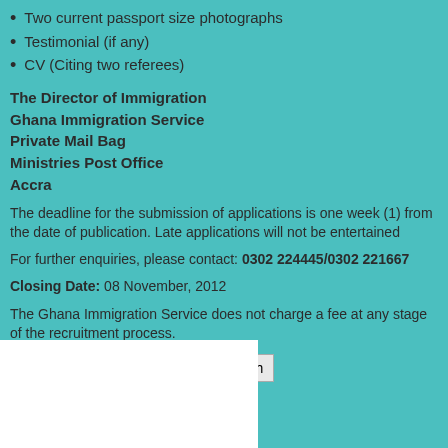Two current passport size photographs
Testimonial (if any)
CV (Citing two referees)
The Director of Immigration
Ghana Immigration Service
Private Mail Bag
Ministries Post Office
Accra
The deadline for the submission of applications is one week (1) from the date of publication. Late applications will not be entertained
For further enquiries, please contact: 0302 224445/0302 221667
Closing Date: 08 November, 2012
The Ghana Immigration Service does not charge a fee at any stage of the recruitment process.
[Figure (other): Search input field with Search button and white content area below]